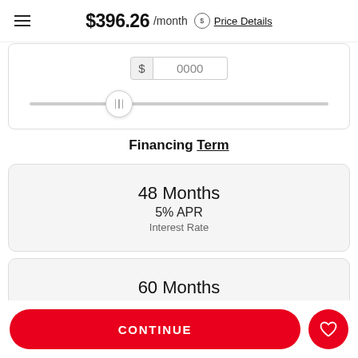$396.26 /month  Price Details
[Figure (other): Slider input for down payment showing a dollar input field with value '0000' and a horizontal range slider with thumb at ~30% position]
Financing Term
48 Months
5% APR
Interest Rate
60 Months
5% APR
Interest Rate
CONTINUE